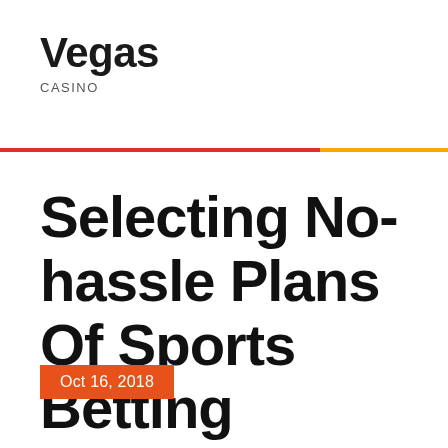Vegas
CASINO
Selecting No-hassle Plans Of Sports Betting
Oct 16, 2018